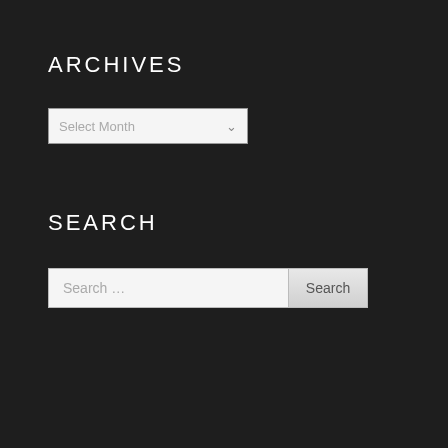ARCHIVES
[Figure (screenshot): A dropdown select box with placeholder text 'Select Month' and a dropdown arrow on a dark background]
SEARCH
[Figure (screenshot): A search input field with placeholder text 'Search ...' and a 'Search' button on a dark background]